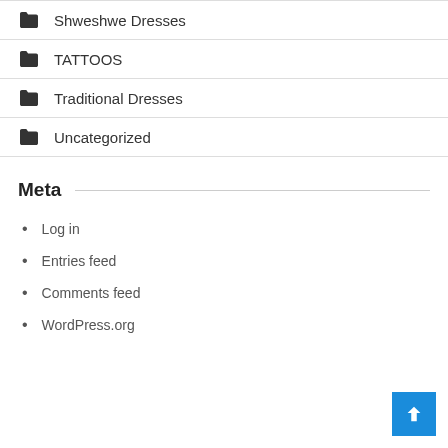Shweshwe Dresses
TATTOOS
Traditional Dresses
Uncategorized
Meta
Log in
Entries feed
Comments feed
WordPress.org